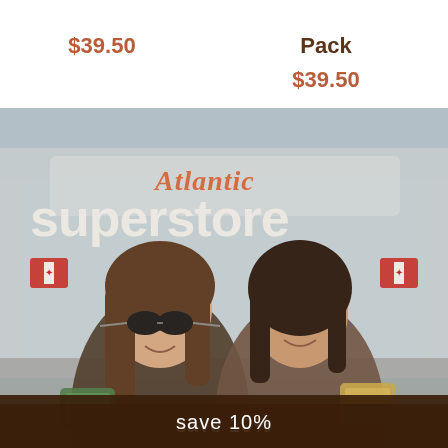$39.50
Pack
$39.50
[Figure (photo): Two women smiling in front of an Atlantic Superstore, holding grocery products. The store sign with 'Atlantic superstore' branding is visible in the background.]
save 10%